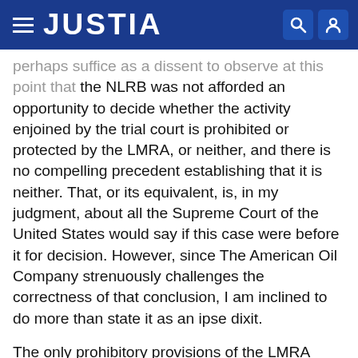JUSTIA
perhaps suffice as a dissent to observe at this point that the NLRB was not afforded an opportunity to decide whether the activity enjoined by the trial court is prohibited or protected by the LMRA, or neither, and there is no compelling precedent establishing that it is neither. That, or its equivalent, is, in my judgment, about all the Supreme Court of the United States would say if this case were before it for decision. However, since The American Oil Company strenuously challenges the correctness of that conclusion, I am inclined to do more than state it as an ipse dixit.
The only prohibitory provisions of the LMRA which seem in the least applicable are Section 8(b) (1) (A) which makes it an unfair labor practice for a labor organization or its agents to coerce employees in the exercise of the right given them by Section 7 to refrain from engaging in "concerted activities for the purpose of collective